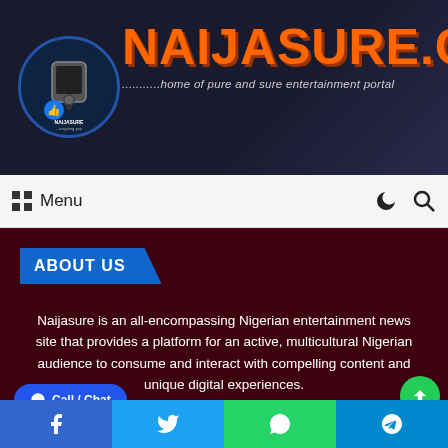[Figure (logo): Naijasure.com website header with circular logo on left, orange bold text NAIJASURE.COM and subtitle '...home of pure and sure entertainment portal' on dark navy background]
Menu
ABOUT US
Naijasure is an all-encompassing Nigerian entertainment news site that provides a platform for an active, multicultural Nigerian audience to consume and interact with compelling content and unique digital experiences.
[Figure (infographic): Social media icons: RSS, Facebook, Twitter, Pinterest, LinkedIn, Instagram, TikTok - displayed in white on dark maroon background]
Call / Chat | Share buttons: Facebook, Twitter, WhatsApp, Telegram